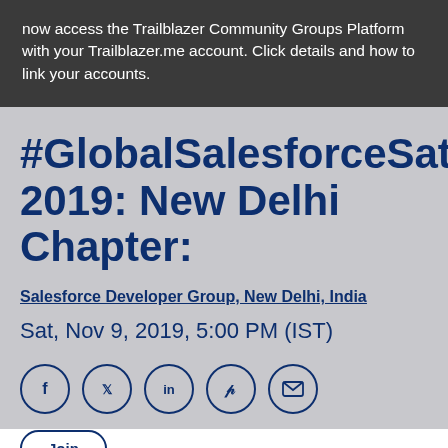now access the Trailblazer Community Groups Platform with your Trailblazer.me account. Click details and how to link your accounts.
#GlobalSalesforceSaturday 2019: New Delhi Chapter:
Salesforce Developer Group, New Delhi, India
Sat, Nov 9, 2019, 5:00 PM (IST)
[Figure (other): Row of five social sharing icon buttons (Facebook, Twitter, LinkedIn, Pinterest, Email) in circular outlines]
Join